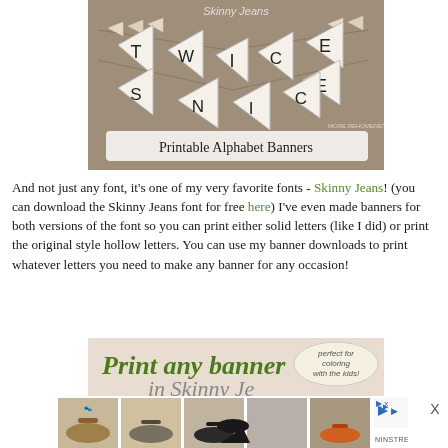[Figure (photo): Photo of printable alphabet banners using triangular pennant flags spelling out letters, with 'Printable Alphabet Banners' text overlay at bottom. 'Skinny Jeans' watermark visible at top.]
And not just any font, it's one of my very favorite fonts - Skinny Jeans! (you can download the Skinny Jeans font for free here) I've even made banners for both versions of the font so you can print either solid letters (like I did) or print the original style hollow letters. You can use my banner downloads to print whatever letters you need to make any banner for any occasion!
[Figure (screenshot): Advertisement image showing 'Print any banner' in decorative script with 'perfect for coloring with the kids!' in speech bubble, and partially visible 'in Skinny Jeans' text below.]
[Figure (photo): Row of 5 shoe advertisement images showing various sandals and heels, with Ninstree branding and ad badge on the right.]